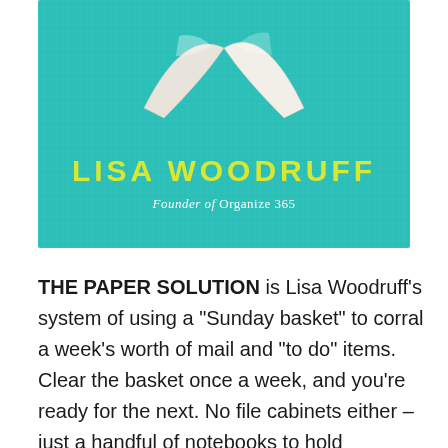[Figure (illustration): Book cover with teal/turquoise linen-textured background, a white paper/page curl graphic at the top center, author name 'LISA WOODRUFF' in large yellow letters, and subtitle 'Founder of Organize 365' in white italic text below.]
THE PAPER SOLUTION is Lisa Woodruff’s system of using a “Sunday basket” to corral a week’s worth of mail and “to do” items. Clear the basket once a week, and you’re ready for the next. No file cabinets either – just a handful of notebooks to hold